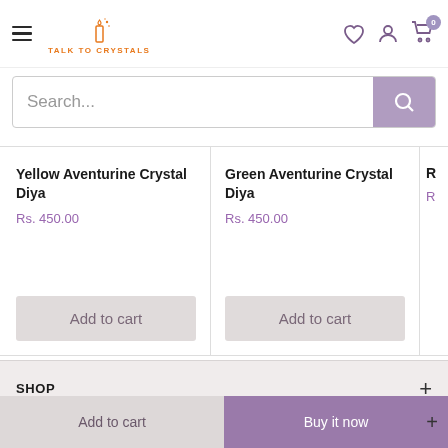[Figure (logo): Talk To Crystals logo with candle icon and orange brand name]
Search...
Yellow Aventurine Crystal Diya
Rs. 450.00
Add to cart
Green Aventurine Crystal Diya
Rs. 450.00
Add to cart
R...
SHOP
Add to cart
Buy it now